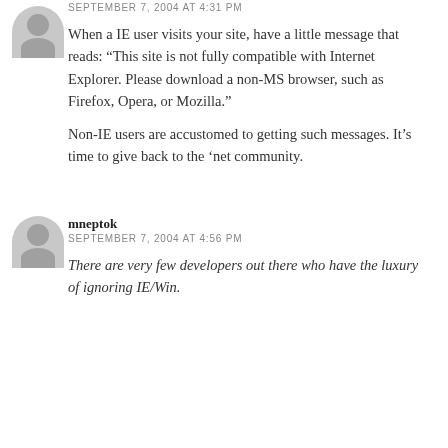SEPTEMBER 7, 2004 AT 4:31 PM
When a IE user visits your site, have a little message that reads: “This site is not fully compatible with Internet Explorer. Please download a non-MS browser, such as Firefox, Opera, or Mozilla.”
Non-IE users are accustomed to getting such messages. It’s time to give back to the ‘net community.
mneptok
SEPTEMBER 7, 2004 AT 4:56 PM
There are very few developers out there who have the luxury of ignoring IE/Win.